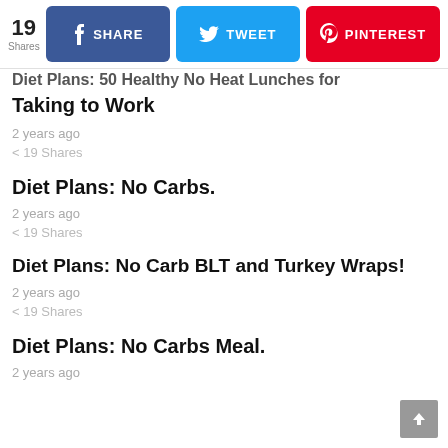19 Shares | SHARE | TWEET | PINTEREST
Diet Plans: 50 Healthy No Heat Lunches for Taking to Work
2 years ago
< 19 Shares
Diet Plans: No Carbs.
2 years ago
< 19 Shares
Diet Plans: No Carb BLT and Turkey Wraps!
2 years ago
< 19 Shares
Diet Plans: No Carbs Meal.
2 years ago